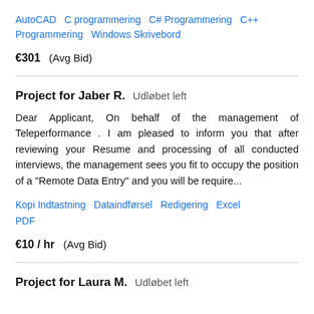AutoCAD   C programmering   C# Programmering   C++ Programmering   Windows Skrivebord
€301   (Avg Bid)
Project for Jaber R.   Udløbet left
Dear Applicant, On behalf of the management of Teleperformance . I am pleased to inform you that after reviewing your Resume and processing of all conducted interviews, the management sees you fit to occupy the position of a "Remote Data Entry" and you will be require...
Kopi Indtastning   Dataindførsel   Redigering   Excel   PDF
€10 / hr   (Avg Bid)
Project for Laura M.   Udløbet left